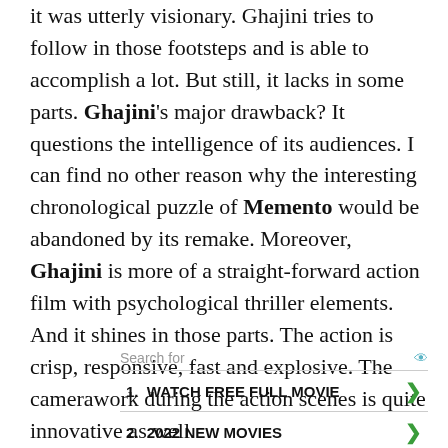it was utterly visionary. Ghajini tries to follow in those footsteps and is able to accomplish a lot. But still, it lacks in some parts. Ghajini's major drawback? It questions the intelligence of its audiences. I can find no other reason why the interesting chronological puzzle of Memento would be abandoned by its remake. Moreover, Ghajini is more of a straight-forward action film with psychological thriller elements. And it shines in those parts. The action is crisp, responsive, fast and explosive. The camerawork during the action scenes is quite innovative as well.
| Search for |  |  |
| --- | --- | --- |
| 1. | WATCH FREE FULL MOVIE | > |
| 2. | 2022 NEW MOVIES | > |